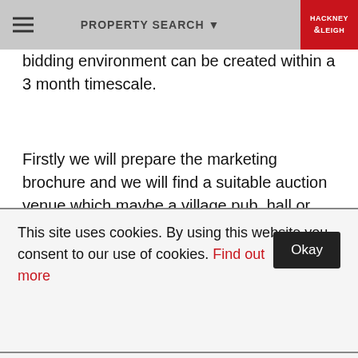PROPERTY SEARCH
bidding environment can be created within a 3 month timescale.
Firstly we will prepare the marketing brochure and we will find a suitable auction venue which maybe a village pub, hall or public building.
We will discuss with you the valuation and agree prior to advertising a price guide to be presented to the public.
Throughout the process we will contact your property
This site uses cookies. By using this website you consent to our use of cookies. Find out more